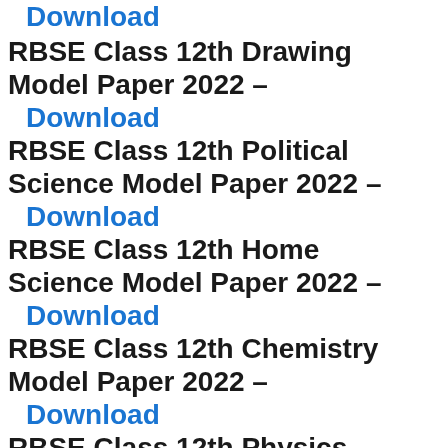Download (partial, top cut off)
RBSE Class 12th Drawing Model Paper 2022 – Download
RBSE Class 12th Political Science Model Paper 2022 – Download
RBSE Class 12th Home Science Model Paper 2022 – Download
RBSE Class 12th Chemistry Model Paper 2022 – Download
RBSE Class 12th Physics Model Paper 2022 – Download